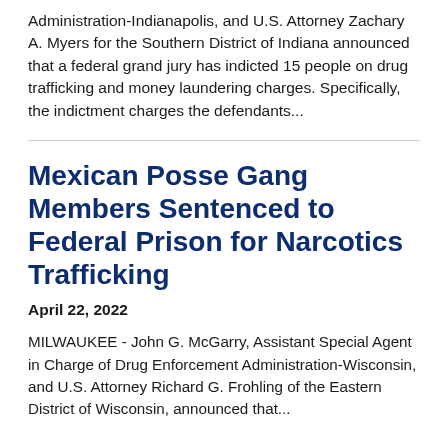Administration-Indianapolis, and U.S. Attorney Zachary A. Myers for the Southern District of Indiana announced that a federal grand jury has indicted 15 people on drug trafficking and money laundering charges. Specifically, the indictment charges the defendants...
Mexican Posse Gang Members Sentenced to Federal Prison for Narcotics Trafficking
April 22, 2022
MILWAUKEE - John G. McGarry, Assistant Special Agent in Charge of Drug Enforcement Administration-Wisconsin, and U.S. Attorney Richard G. Frohling of the Eastern District of Wisconsin, announced that...